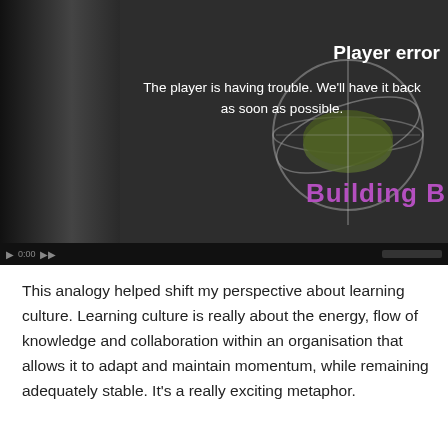[Figure (screenshot): Video player showing an error message 'Player error' with text 'The player is having trouble. We’ll have it back as soon as possible.' overlaid on a dark background with a globe/gyroscope graphic and partial purple text 'Building B' visible. Player controls are shown at the bottom.]
This analogy helped shift my perspective about learning culture. Learning culture is really about the energy, flow of knowledge and collaboration within an organisation that allows it to adapt and maintain momentum, while remaining adequately stable. It’s a really exciting metaphor.